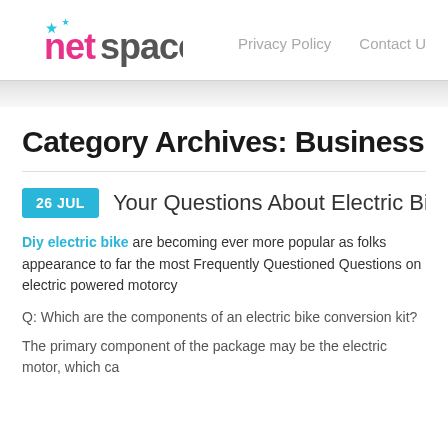netspace | Privacy Policy | Contact U
Category Archives: Business
26 JUL   Your Questions About Electric Bike C
Diy electric bike are becoming ever more popular as folks appearance to far the most Frequently Questioned Questions on electric powered motorcy
Q: Which are the components of an electric bike conversion kit?
The primary component of the package may be the electric motor, which ca